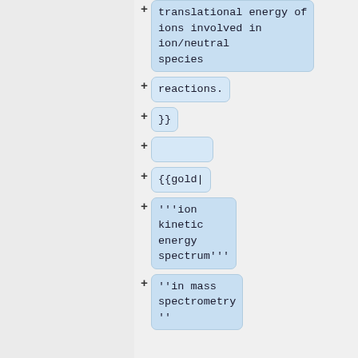translational energy of ions involved in ion/neutral species
reactions.
}}
{{gold|
'''ion kinetic energy spectrum'''
''in mass spectrometry''